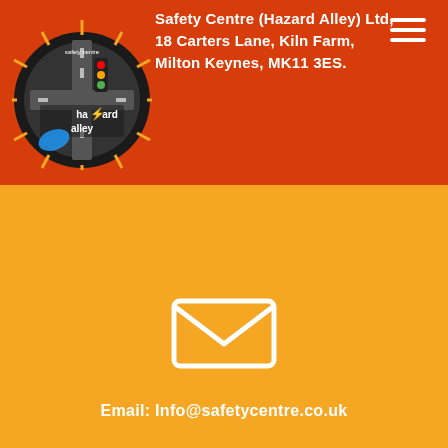Safety Centre (Hazard Alley) Ltd, 18 Carters Lane, Kiln Farm, Milton Keynes, MK11 3ES.
[Figure (logo): Hazard Alley safety centre circular logo with traffic lights and lightning bolt]
[Figure (infographic): White envelope/email icon on orange background]
Email: Info@safetycentre.co.uk